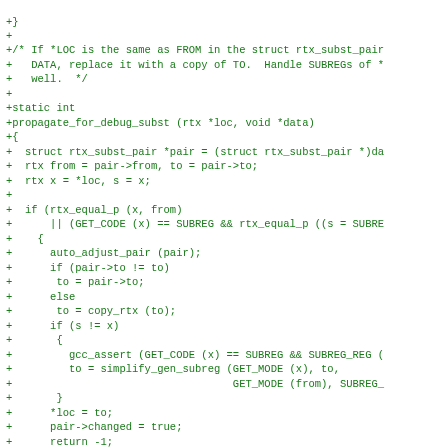[Figure (screenshot): Code diff screenshot showing C code for propagate_for_debug_subst function in green monospace font on white background]